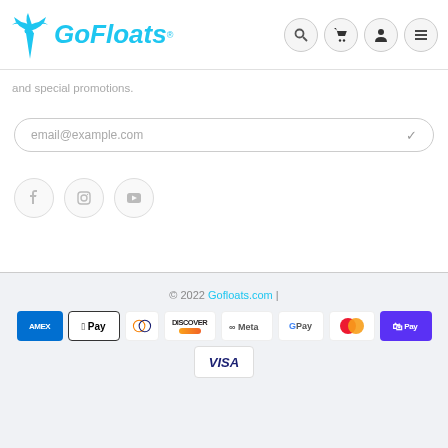[Figure (logo): GoFloats logo with palm tree icon in cyan/blue and italic text]
and special promotions.
email@example.com
[Figure (other): Social media icons: Facebook, Instagram, YouTube in circular outlines]
© 2022 Gofloats.com |
[Figure (other): Payment method icons: AMEX, Apple Pay, Diners Club, Discover, Meta, Google Pay, Mastercard, Shop Pay, VISA]